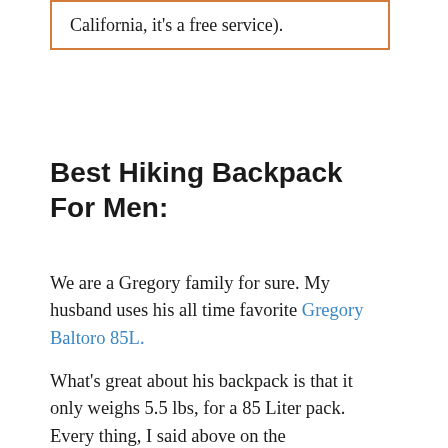California, it's a free service).
Best Hiking Backpack For Men:
We are a Gregory family for sure. My husband uses his all time favorite Gregory Baltoro 85L.
What's great about his backpack is that it only weighs 5.5 lbs, for a 85 Liter pack. Every thing, I said above on the